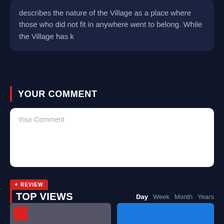describes the nature of the Village as a place where those who did not fit in anywhere went to belong. While the Village has k
YOUR COMMENT
Your Comment
REVIEW
TOP VIEWS
Day Week Month Years